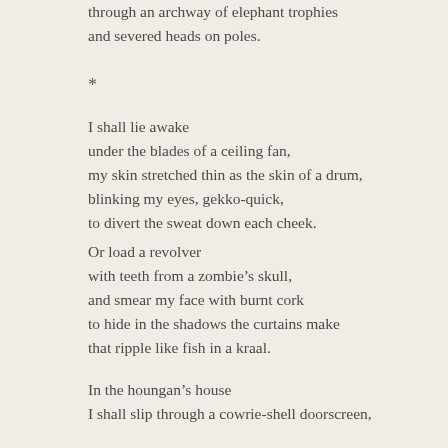through an archway of elephant trophies
and severed heads on poles.
*
I shall lie awake
under the blades of a ceiling fan,
my skin stretched thin as the skin of a drum,
blinking my eyes, gekko-quick,
to divert the sweat down each cheek.
Or load a revolver
with teeth from a zombie’s skull,
and smear my face with burnt cork
to hide in the shadows the curtains make
that ripple like fish in a kraal.
In the houngan’s house
I shall slip through a cowrie-shell doorscreen,